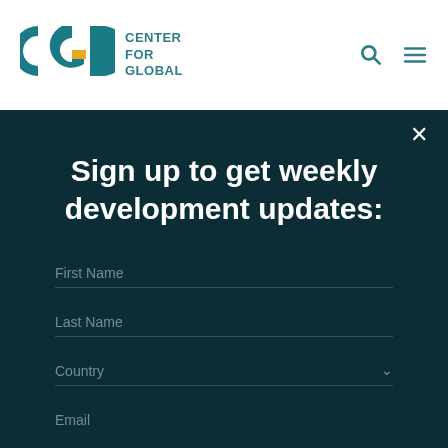[Figure (logo): CGD (Center for Global Development) logo with teal circular letters and yellow rectangle accent]
CENTER FOR GLOBAL
[Figure (other): Search icon (magnifying glass) and hamburger menu icon in teal]
×
Sign up to get weekly development updates:
First Name
Last Name
Country
Email